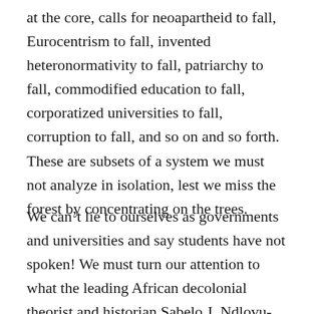at the core, calls for neoapartheid to fall, Eurocentrism to fall, invented heteronormativity to fall, patriarchy to fall, commodified education to fall, corporatized universities to fall, corruption to fall, and so on and so forth. These are subsets of a system we must not analyze in isolation, lest we miss the forest by concentrating on the trees.
We can't lie to ourselves as governments and universities and say students have not spoken! We must turn our attention to what the leading African decolonial theorist and historian Sabelo J. Ndlovu-Gatsheni has described as the “rich student archive,” consisting of songs and dances, graffiti, speeches, placards, blogs, media articles, and memoranda.[7]